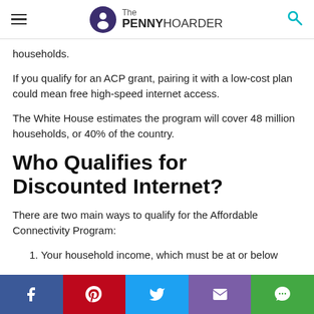The PENNY HOARDER
households.
If you qualify for an ACP grant, pairing it with a low-cost plan could mean free high-speed internet access.
The White House estimates the program will cover 48 million households, or 40% of the country.
Who Qualifies for Discounted Internet?
There are two main ways to qualify for the Affordable Connectivity Program:
1. Your household income, which must be at or below